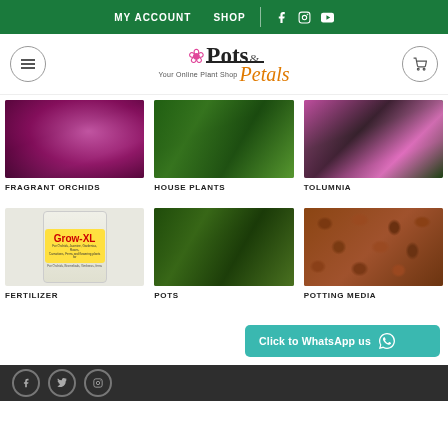MY ACCOUNT  SHOP
[Figure (logo): Pots & Petals - Your Online Plant Shop logo with pink flower icon]
[Figure (photo): Fragrant Orchids - pink/magenta orchid flowers]
FRAGRANT ORCHIDS
[Figure (photo): House Plants - green leafy house plants]
HOUSE PLANTS
[Figure (photo): Tolumnia - pink orchid flowers]
TOLUMNIA
[Figure (photo): Fertilizer - Grow-XL fertilizer container]
FERTILIZER
[Figure (photo): Pots - green plants in pots]
POTS
[Figure (photo): Potting Media - brown bark/wood chips]
POTTING MEDIA
Click to WhatsApp us
Social media icons: Facebook, Twitter/X, Instagram